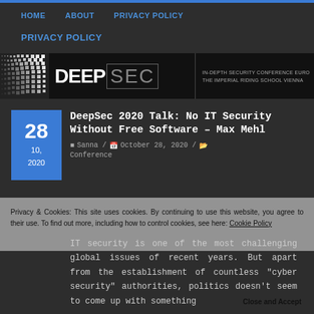HOME  ABOUT  PRIVACY POLICY
PRIVACY POLICY
[Figure (logo): DeepSec logo banner with dots pattern, IN-DEPTH SECURITY CONFERENCE EURO / THE IMPERIAL RIDING SCHOOL VIENNA tagline]
DeepSec 2020 Talk: No IT Security Without Free Software – Max Mehl
Sanna / October 28, 2020 / Conference
Privacy & Cookies: This site uses cookies. By continuing to use this website, you agree to their use. To find out more, including how to control cookies, see here: Cookie Policy
IT security is one of the most challenging global issues of recent years. But apart from the establishment of countless "cyber security" authorities, politics doesn't seem to come up with something